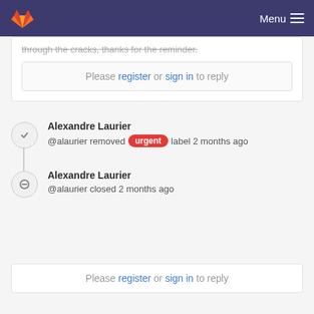Menu
through the cracks, thanks for the reminder.
Please register or sign in to reply
Alexandre Laurier
@alaurier removed urgent label 2 months ago
Alexandre Laurier
@alaurier closed 2 months ago
Please register or sign in to reply